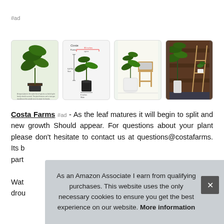#ad
[Figure (photo): Four product images of tropical houseplants (Strelitzia/Bird of Paradise) from Costa Farms, showing plants in pots, size charts, and lifestyle/room settings]
Costa Farms #ad - As the leaf matures it will begin to split and new growth Should appear. For questions about your plant please don't hesitate to contact us at questions@costafarms. Its b... part... Wat... drou...
As an Amazon Associate I earn from qualifying purchases. This website uses the only necessary cookies to ensure you get the best experience on our website. More information